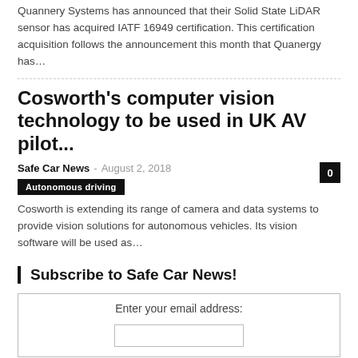Quannery Systems has announced that their Solid State LiDAR sensor has acquired IATF 16949 certification. This certification acquisition follows the announcement this month that Quanergy has…
Cosworth's computer vision technology to be used in UK AV pilot...
Safe Car News  –  August 2, 2018
Autonomous driving
Cosworth is extending its range of camera and data systems to provide vision solutions for autonomous vehicles. Its vision software will be used as…
Subscribe to Safe Car News!
Enter your email address: